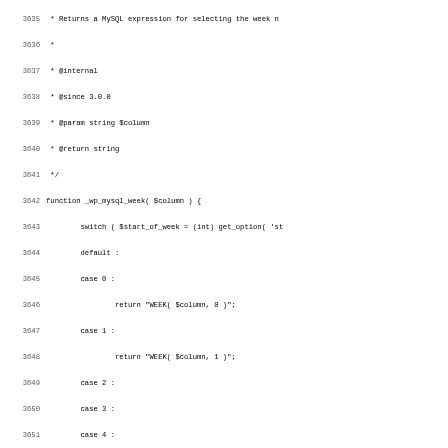[Figure (screenshot): Source code viewer showing PHP code lines 3635-3667 from a WordPress codebase. Lines include PHPDoc comments and a function _wp_mysql_week with a switch statement, followed by the start of another PHPDoc block for a function that finds hierarchy loops.]